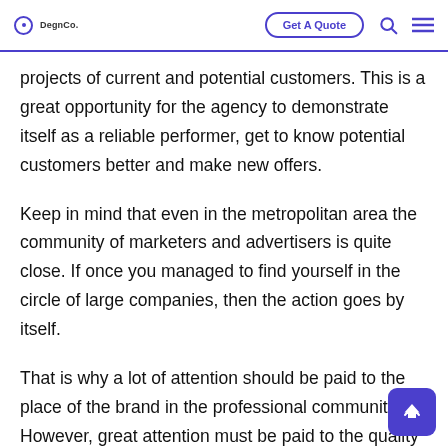DegnCo. | Get A Quote | [search icon] | [menu icon]
projects of current and potential customers. This is a great opportunity for the agency to demonstrate itself as a reliable performer, get to know potential customers better and make new offers.
Keep in mind that even in the metropolitan area the community of marketers and advertisers is quite close. If once you managed to find yourself in the circle of large companies, then the action goes by itself.
That is why a lot of attention should be paid to the place of the brand in the professional community. However, great attention must be paid to the quality of work. Once you make a mistake, you can fall out of the circle of leaders in